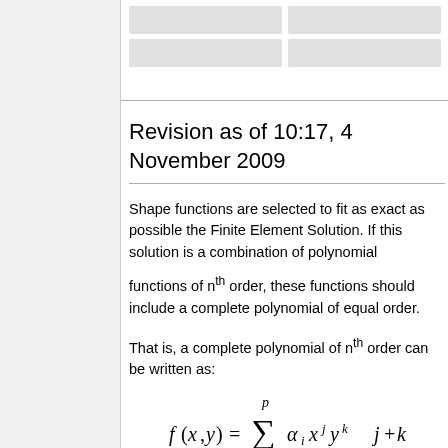Revision as of 10:17, 4 November 2009
Shape functions are selected to fit as exact as possible the Finite Element Solution. If this solution is a combination of polynomial functions of nth order, these functions should include a complete polynomial of equal order.
That is, a complete polynomial of nth order can be written as:
with: p = (n+1)(n+2)/2 the number of terms.